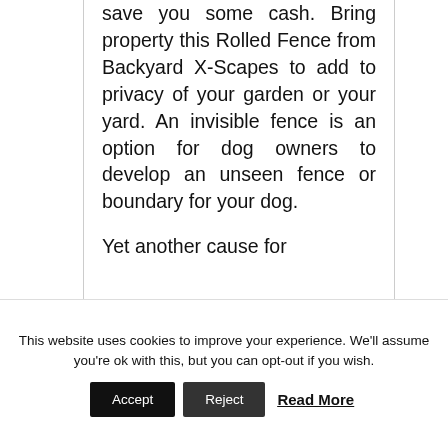save you some cash. Bring property this Rolled Fence from Backyard X-Scapes to add to privacy of your garden or your yard. An invisible fence is an option for dog owners to develop an unseen fence or boundary for your dog.
Yet another cause for
This website uses cookies to improve your experience. We'll assume you're ok with this, but you can opt-out if you wish.